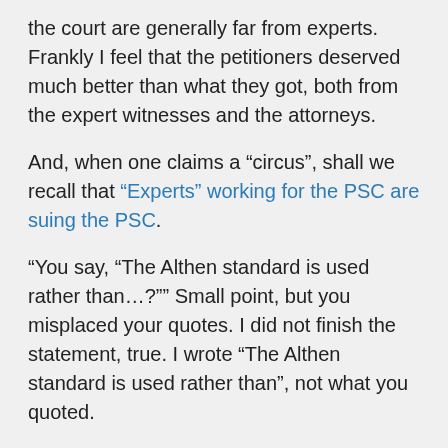the court are generally far from experts. Frankly I feel that the petitioners deserved much better than what they got, both from the expert witnesses and the attorneys.
And, when one claims a “circus”, shall we recall that “Experts” working for the PSC are suing the PSC.
“You say, “The Althen standard is used rather than…?”” Small point, but you misplaced your quotes. I did not finish the statement, true. I wrote “The Althen standard is used rather than”, not what you quoted.
The point being that there is a different